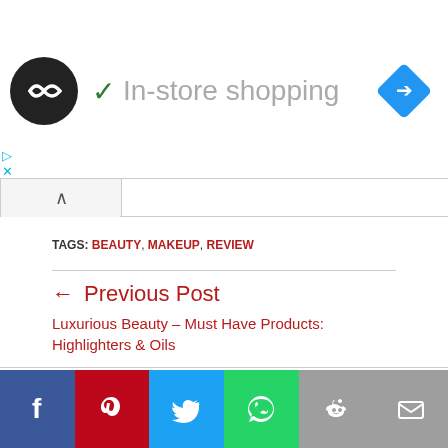[Figure (infographic): Ad banner with circular logo, checkmark icon, 'In-store shopping' text, and blue diamond navigation icon]
TAGS: BEAUTY, MAKEUP, REVIEW
← Previous Post
Luxurious Beauty – Must Have Products: Highlighters & Oils
Next Post →
The Subculture Palette by ABH – Why All The Controversy?
[Figure (infographic): Social sharing bar with Facebook, Pinterest, Twitter, WhatsApp, Reddit, and Email buttons]